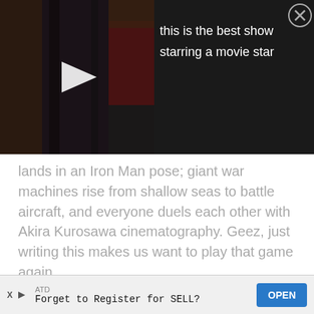[Figure (screenshot): Video player thumbnail showing dark movie/game scene with white play button triangle overlay. Top right shows close (X) button in circle. Text overlay reads: 'this is the best show starring a movie star']
lands in an Iron Man pose; giant war machines rise from shallow seas to battle aircraft, and everyone duels each other with Akira Kurosawa cinematography. Geez, just writing this makes us want to play that game again.
5  Super Smash Bros.
[Figure (screenshot): Video thumbnail banner with text: Super Smash Bros. Ultimate – 'World of Light' Official Cinematic & Adventure Mode Reveal. Dark brownish game art background.]
ATD  Forget to Register for SELL?  OPEN